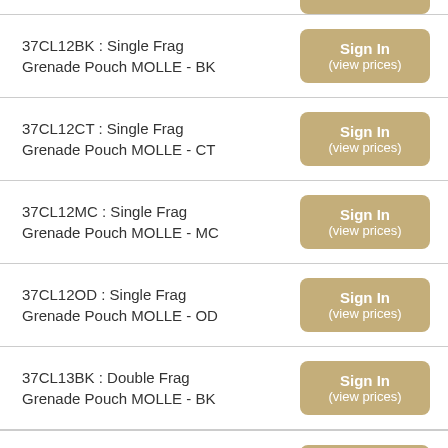37CL12BK : Single Frag Grenade Pouch MOLLE - BK
37CL12CT : Single Frag Grenade Pouch MOLLE - CT
37CL12MC : Single Frag Grenade Pouch MOLLE - MC
37CL12OD : Single Frag Grenade Pouch MOLLE - OD
37CL13BK : Double Frag Grenade Pouch MOLLE - BK
37CL14BK : STRIKE Smoke Grenade Single Pouch Black